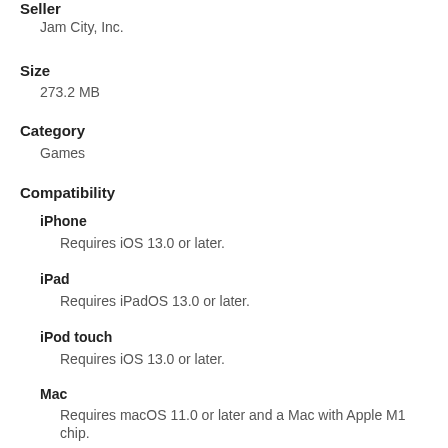Seller
Jam City, Inc.
Size
273.2 MB
Category
Games
Compatibility
iPhone
Requires iOS 13.0 or later.
iPad
Requires iPadOS 13.0 or later.
iPod touch
Requires iOS 13.0 or later.
Mac
Requires macOS 11.0 or later and a Mac with Apple M1 chip.